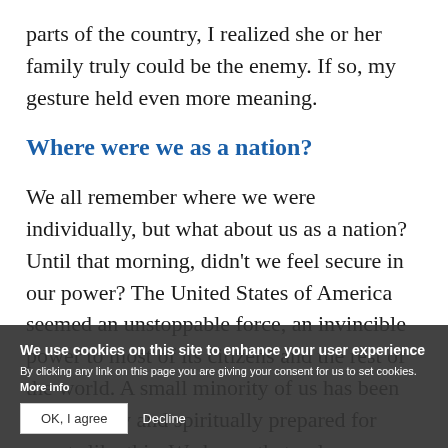parts of the country, I realized she or her family truly could be the enemy. If so, my gesture held even more meaning.
Where were we as a nation?
We all remember where we were individually, but what about us as a nation? Until that morning, didn't we feel secure in our power? The United States of America seemed an unstoppable force, an invincible power to most of its citizens and the rest of the world. A small minority of us has been emotionally and spiritually prepared for events like this. We know that unless we repent, our country is prophesied to fall. Contrast this with most
We use cookies on this site to enhance your user experience
By clicking any link on this page you are giving your consent for us to set cookies. More info
OK, I agree   Decline